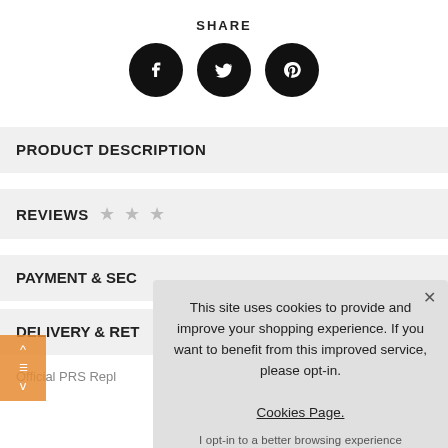SHARE
[Figure (infographic): Three social share buttons: Facebook (f), Twitter (bird), Pinterest (p) as black circles]
PRODUCT DESCRIPTION
REVIEWS ★ ★ ★
PAYMENT & SEC
DELIVERY & RET
Official PRS Repl
This site uses cookies to provide and improve your shopping experience. If you want to benefit from this improved service, please opt-in. Cookies Page.

I opt-in to a better browsing experience
ACCEPT COOKIES